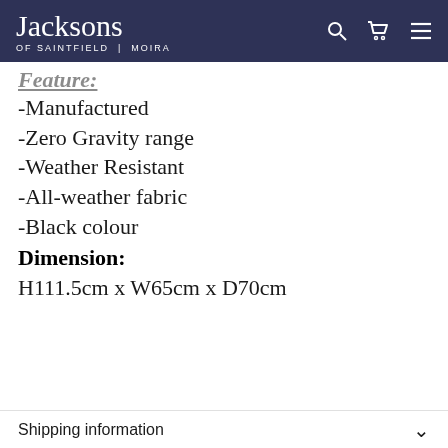Jacksons OF SAINTFIELD | MOIRA
Feature:
-Manufactured
-Zero Gravity range
-Weather Resistant
-All-weather fabric
-Black colour
Dimension:
H111.5cm x W65cm x D70cm
Shipping information